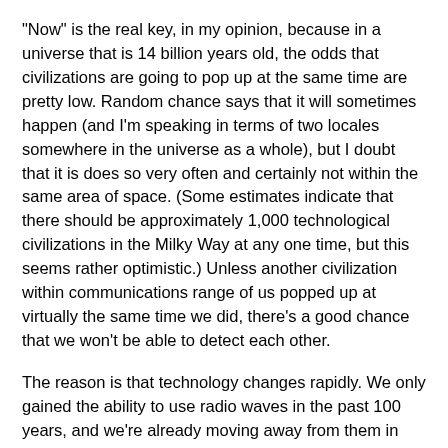"Now" is the real key, in my opinion, because in a universe that is 14 billion years old, the odds that civilizations are going to pop up at the same time are pretty low. Random chance says that it will sometimes happen (and I'm speaking in terms of two locales somewhere in the universe as a whole), but I doubt that it is does so very often and certainly not within the same area of space. (Some estimates indicate that there should be approximately 1,000 technological civilizations in the Milky Way at any one time, but this seems rather optimistic.) Unless another civilization within communications range of us popped up at virtually the same time we did, there's a good chance that we won't be able to detect each other.
The reason is that technology changes rapidly. We only gained the ability to use radio waves in the past 100 years, and we're already moving away from them in favor of new technologies. That leaves a pretty small window for two civilizations to cross paths. Stretch that window to, say, 500 years and you greatly decrease the odds. Yet 500 years is but a wink of an eye to the universe. It's like two cars being in exactly the same place when the light changes and colliding in the intersection. For any one driver it is an extremely rare event to become involved in such an incident. Our civilization is like that, too.